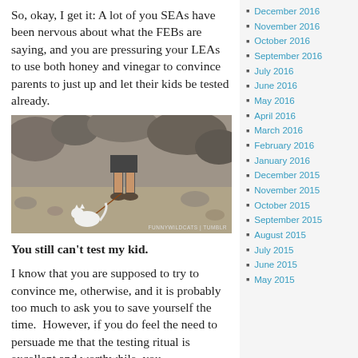So, okay, I get it: A lot of you SEAs have been nervous about what the FEBs are saying, and you are pressuring your LEAs to use both honey and vinegar to convince parents to just up and let their kids be tested already.
[Figure (photo): Photo of a person walking a white cat on a leash on a sandy/rocky beach, with rocks in background. Credit: FUNNYWILDCATS | TUMBLR]
You still can't test my kid.
I know that you are supposed to try to convince me, otherwise, and it is probably too much to ask you to save yourself the time.  However, if you do feel the need to persuade me that the testing ritual is excellent and worthwhile, you
December 2016
November 2016
October 2016
September 2016
July 2016
June 2016
May 2016
April 2016
March 2016
February 2016
January 2016
December 2015
November 2015
October 2015
September 2015
August 2015
July 2015
June 2015
May 2015